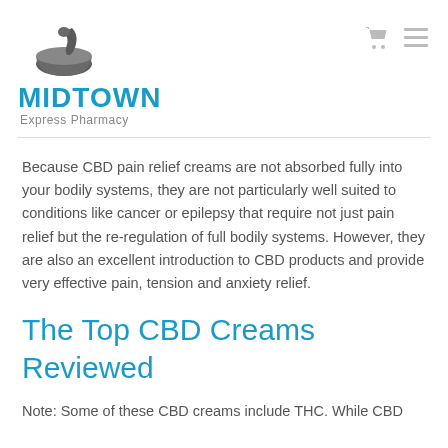[Figure (logo): Midtown Express Pharmacy logo with mortar and pestle icon in grey, MIDTOWN in blue bold text, Express Pharmacy in grey below]
Because CBD pain relief creams are not absorbed fully into your bodily systems, they are not particularly well suited to conditions like cancer or epilepsy that require not just pain relief but the re-regulation of full bodily systems. However, they are also an excellent introduction to CBD products and provide very effective pain, tension and anxiety relief.
The Top CBD Creams Reviewed
Note: Some of these CBD creams include THC. While CBD